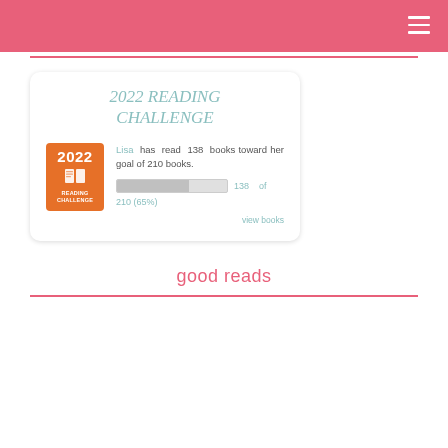2022 READING CHALLENGE
Lisa has read 138 books toward her goal of 210 books.
[Figure (other): Progress bar showing 138 of 210 (65%) books read]
138 of 210 (65%)
view books
good reads